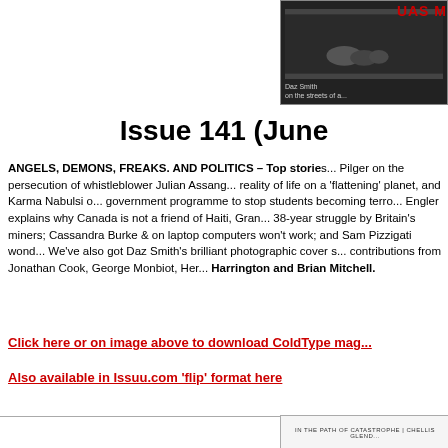[Figure (photo): Black and white photographic cover image on dark background, partially cropped. Text 'Daz Smith' and 'on the streets of a...' visible. Red text 'UAS M' at top right.]
Issue 141 (June
ANGELS, DEMONS, FREAKS. AND POLITICS – Top storie... Pilger on the persecution of whistleblower Julian Assang... reality of life on a 'flattening' planet, and Karma Nabulsi o... government programme to stop students becoming terro... Engler explains why Canada is not a friend of Haiti, Gran... 38-year struggle by Britain's miners; Cassandra Burke &... on laptop computers won't work; and Sam Pizzigati wond... We've also got Daz Smith's brilliant photographic cover s... contributions from Jonathan Cook, George Monbiot, Her... Harrington and Brian Mitchell.
Click here or on image above to download ColdType mag...
Also available in Issuu.com 'flip' format here
[Figure (photo): Partial image at bottom right. Text reads 'IN THE PATH OF CATASTROPHE | CHELLIS GLEND...']